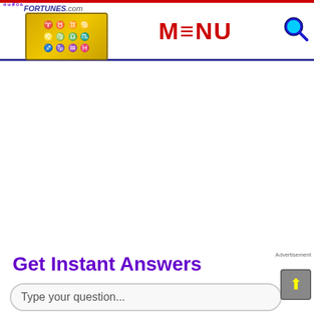[Figure (logo): PowerFortunes.com logo with zodiac symbols on golden background, navigation bar with red MENU text and blue search icon]
Get Instant Answers
Type your question...